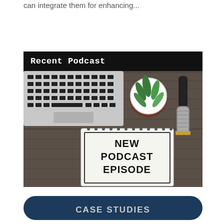can integrate them for enhancing...
« Older Entries
Recent Podcast
[Figure (photo): Desk flatlay with laptop keyboard, succulent plant in white pot, microphone, and a spiral notebook with 'NEW PODCAST EPISODE' written in bold letters]
CASE STUDIES